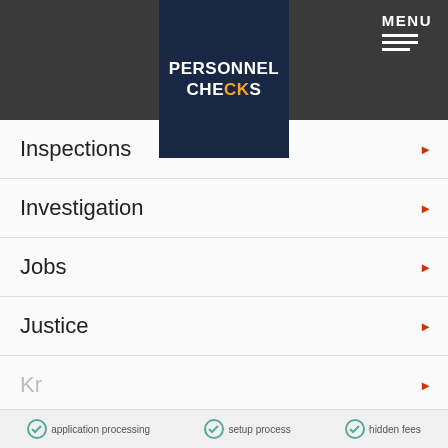PERSONNEL CHECKS — MENU
Inspections
Investigation
Jobs
Justice
Kr...
La...
La...
Le...
We use cookies to personalise content and ads, to provide social media features and to analyse our traffic. We also share information about your use of our site with our social media, advertising and analytics partners. Learn more
Got it!
application processing   setup process   hidden fees